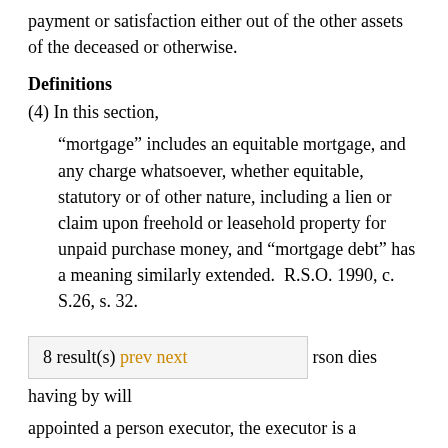payment or satisfaction either out of the other assets of the deceased or otherwise.
Definitions
(4)  In this section,
“mortgage” includes an equitable mortgage, and any charge whatsoever, whether equitable, statutory or of other nature, including a lien or claim upon freehold or leasehold property for unpaid purchase money, and “mortgage debt” has a meaning similarly extended.  R.S.O. 1990, c. S.26, s. 32.
8 result(s) prev next
rson dies having by will appointed a person executor, the executor is a